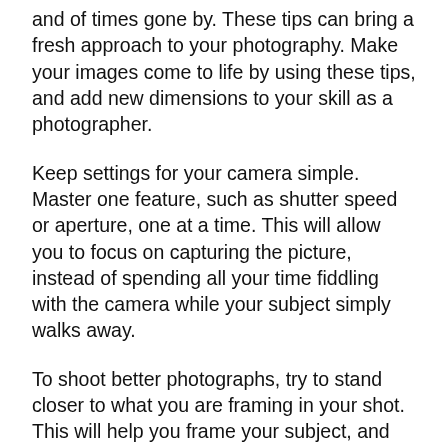and of times gone by. These tips can bring a fresh approach to your photography. Make your images come to life by using these tips, and add new dimensions to your skill as a photographer.
Keep settings for your camera simple. Master one feature, such as shutter speed or aperture, one at a time. This will allow you to focus on capturing the picture, instead of spending all your time fiddling with the camera while your subject simply walks away.
To shoot better photographs, try to stand closer to what you are framing in your shot. This will help you frame your subject, and block out disruptive backgrounds. If you are shooting a person, getting closer also allows to capture their facial expressions with greater clarity. Small details are easily overlooked when the subject is a good distance away.